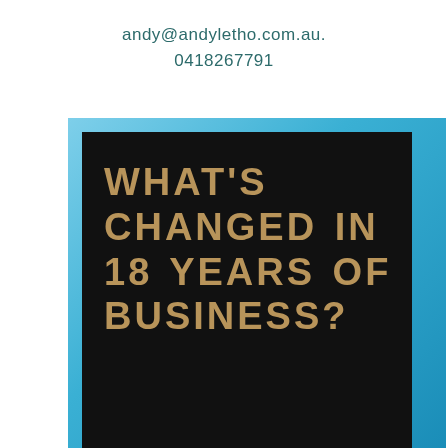andy@andyletho.com.au.
0418267791
[Figure (photo): A promotional image with a blue background and a black card in the foreground displaying the text 'WHAT'S CHANGED IN 18 YEARS OF BUSINESS?' in large bold tan/gold uppercase letters. Below the black card is a blurred photo of a person.]